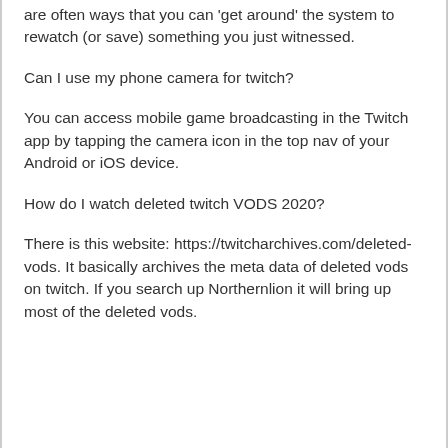are often ways that you can 'get around' the system to rewatch (or save) something you just witnessed.
Can I use my phone camera for twitch?
You can access mobile game broadcasting in the Twitch app by tapping the camera icon in the top nav of your Android or iOS device.
How do I watch deleted twitch VODS 2020?
There is this website: https://twitcharchives.com/deleted-vods. It basically archives the meta data of deleted vods on twitch. If you search up Northernlion it will bring up most of the deleted vods.